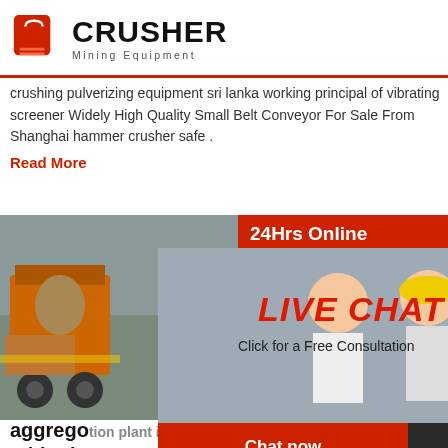[Figure (logo): Crusher Mining Equipment logo with red shopping bag icon and bold black CRUSHER text, Mining Equipment subtitle]
crushing pulverizing equipment sri lanka working principal of vibrating screener Widely High Quality Small Belt Conveyor For Sale From Shanghai hammer crusher safe .
Read More
[Figure (photo): Construction machinery and workers with yellow hard hats at a job site]
[Figure (screenshot): Live Chat popup overlay with workers photo background, red LIVE CHAT text, Click for a Free Consultation, Chat now and Chat later buttons]
[Figure (photo): Customer service agent with headset, 24Hrs Online banner, Need questions & suggestion sidebar with Chat Now button, Enquiry section, limingjlmofen@sina.com contact]
aggregate crushing plant in ethiopia
Concrete aggregate production suppliers in ethiopia aggregate washer production in ethiopia aggregate plant in ethiopia aggregate crusher plant china high and low price aggregate Get Price from where do i purchase aggregate crushing aggregate crushing screening equipment jul 26 the dangote cement plant in